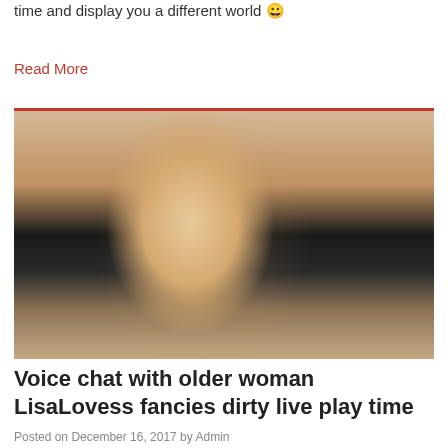time and display you a different world 😀
Read More
[Figure (photo): Woman with long blonde hair wearing a black top, leaning forward and talking, indoors]
Voice chat with older woman LisaLovess fancies dirty live play time
Posted on December 16, 2017 by Admin